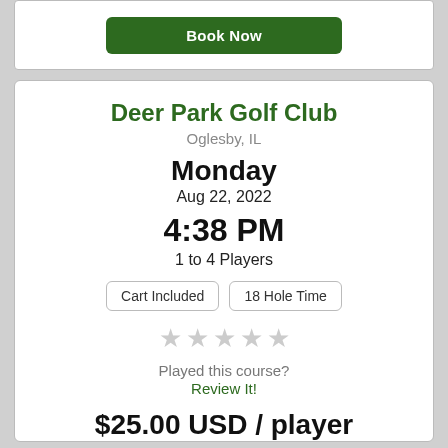[Figure (screenshot): Book Now button at top of card]
Deer Park Golf Club
Oglesby, IL
Monday
Aug 22, 2022
4:38 PM
1 to 4 Players
Cart Included
18 Hole Time
[Figure (other): 5 empty star rating icons]
Played this course?
Review It!
$25.00 USD / player
Book Now